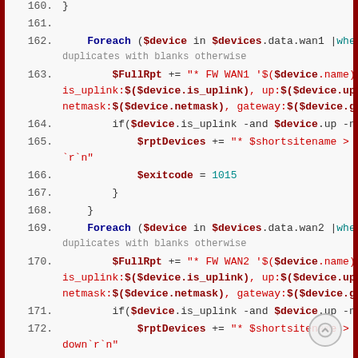[Figure (screenshot): PowerShell code editor screenshot showing lines 160-178 of a script. The code uses Foreach loops over $devices.data.wan1 and .wan2, builds $FullRpt strings with device properties, checks uplink status, sets $exitcode to 1015 or 1016, and ends with a comment about DIRTY HACK for UDMPs losing auth on second call related to ServerCertificateValidationCallback.]